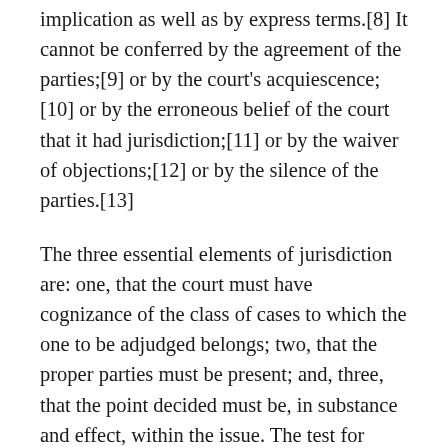implication as well as by express terms.[8] It cannot be conferred by the agreement of the parties;[9] or by the court's acquiescence;[10] or by the erroneous belief of the court that it had jurisdiction;[11] or by the waiver of objections;[12] or by the silence of the parties.[13]
The three essential elements of jurisdiction are: one, that the court must have cognizance of the class of cases to which the one to be adjudged belongs; two, that the proper parties must be present; and, three, that the point decided must be, in substance and effect, within the issue. The test for determining jurisdiction is ordinarily the nature of the case as made by the complaint and the relief sought; and the primary and essential nature of the suit, not its incidental character, determines the jurisdiction of the court relative to it.[14]